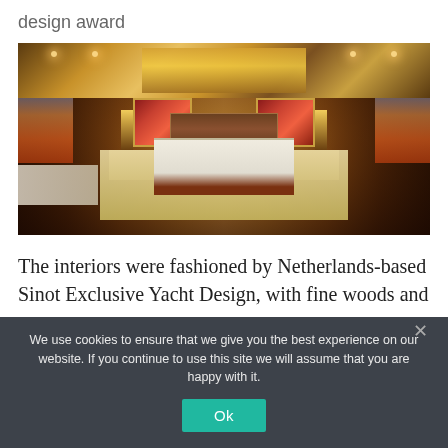design award
[Figure (photo): Interior of a luxury yacht master cabin with warm wood ceiling featuring elaborate gold lighting panels, a large bed in the center on a cream rug, flanked by nightstands and lamps with red wall art panels, a desk area on the left, and sunset views through large windows on both sides.]
The interiors were fashioned by Netherlands-based Sinot Exclusive Yacht Design, with fine woods and
We use cookies to ensure that we give you the best experience on our website. If you continue to use this site we will assume that you are happy with it.